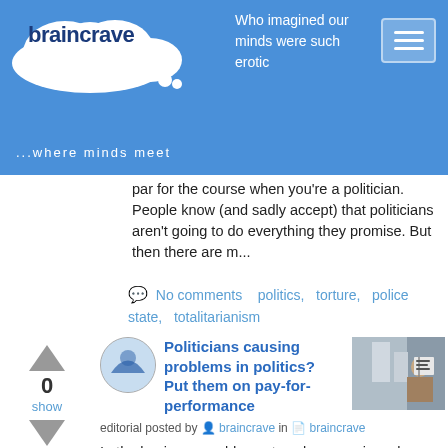[Figure (logo): Braincrave.com logo with cloud shape, tagline '...where minds meet', and navigation header with blue background and hamburger menu]
par for the course when you're a politician. People know (and sadly accept) that politicians aren't going to do everything they promise. But then there are m...
No comments   politics,  torture,  police state,  totalitarianism
Politicians causing problems in politics? Put them on pay-for-performance
editorial posted by braincrave in braincrave
In the business world, most workers receive a base salary and then salary increases or bonuses based on performance. Performance can be measured by various factors, including company performance, ind...
No comments   politics,  jobs,  economics